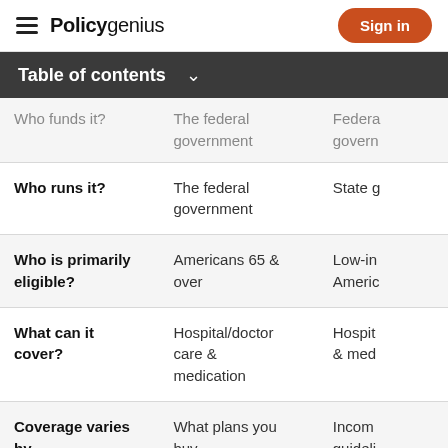Policygenius | Sign in
Table of contents
|  | Medicare | Medicaid |
| --- | --- | --- |
| Who funds it? | The federal government | Federal govern… |
| Who runs it? | The federal government | State g… |
| Who is primarily eligible? | Americans 65 & over | Low-in… Americ… |
| What can it cover? | Hospital/doctor care & medication | Hospit… & med… |
| Coverage varies by | What plans you buy | Income… guideli… |